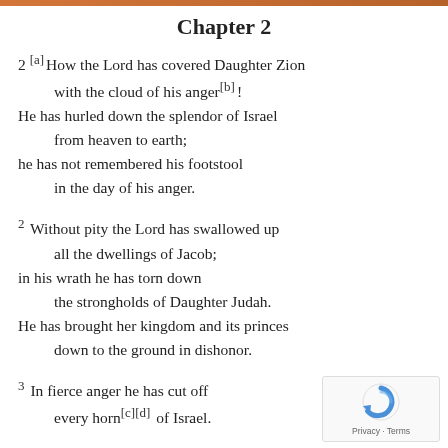Chapter 2
2 [a]How the Lord has covered Daughter Zion with the cloud of his anger[b]!
He has hurled down the splendor of Israel from heaven to earth;
he has not remembered his footstool in the day of his anger.
2 Without pity the Lord has swallowed up all the dwellings of Jacob;
in his wrath he has torn down the strongholds of Daughter Judah.
He has brought her kingdom and its princes down to the ground in dishonor.
3 In fierce anger he has cut off every horn[c][d] of Israel.
[Figure (logo): reCAPTCHA logo with Privacy and Terms links]